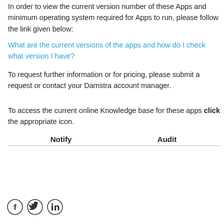In order to view the current version number of these Apps and minimum operating system required for Apps to run, please follow the link given below:
What are the current versions of the apps and how do I check what version I have?
To request further information or for pricing, please submit a request or contact your Damstra account manager.
To access the current online Knowledge base for these apps click the appropriate icon.
| Notify | Audit |
| --- | --- |
|   |   |
[Figure (other): Social media icons: Facebook, Twitter, LinkedIn]